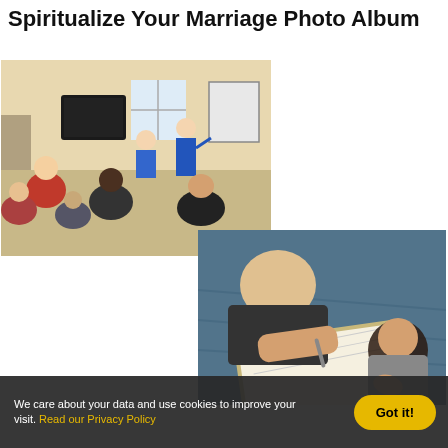Spiritualize Your Marriage Photo Album
[Figure (photo): Group of people seated in a circle in a living room setting, two instructors in blue outfits standing and presenting, with a TV and whiteboard in the background.]
[Figure (photo): Close-up of a man and woman writing on a clipboard on a blue surface, viewed from above.]
We care about your data and use cookies to improve your visit. Read our Privacy Policy